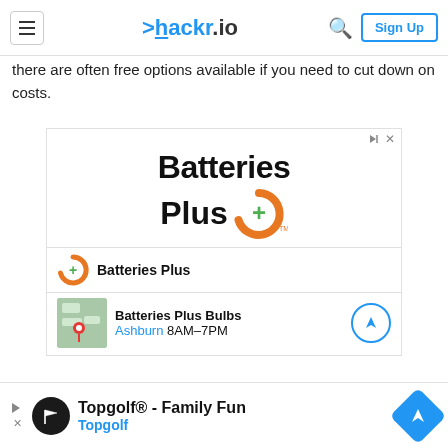hackr.io — navigation bar with hamburger menu, logo, search icon, and Sign Up button
there are often free options available if you need to cut down on costs.
[Figure (screenshot): Advertisement for Batteries Plus with large bold logo text, orange arc plus green plus icon, brand row, and location row showing Batteries Plus Bulbs in Ashburn 8AM–7PM with a map thumbnail and navigation arrow circle.]
Depending on the certification's requirements, you may
[Figure (screenshot): Bottom advertisement banner for Topgolf® - Family Fun, with Topgolf logo icon, title text, and a blue diamond navigation icon.]